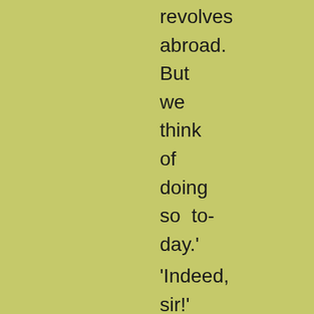revolves abroad. But we think of doing so to-day.'
'Indeed, sir!' cried the new pupil.
'Yes,' said